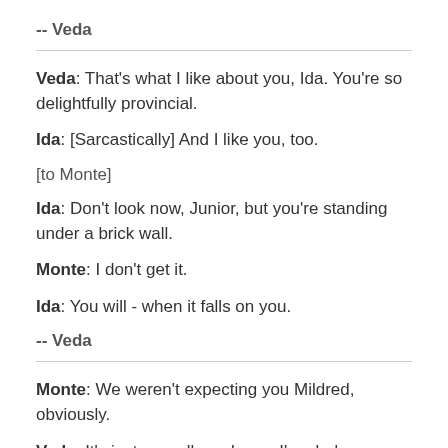-- Veda
Veda: That's what I like about you, Ida. You're so delightfully provincial.
Ida: [Sarcastically] And I like you, too.
[to Monte]
Ida: Don't look now, Junior, but you're standing under a brick wall.
Monte: I don't get it.
Ida: You will - when it falls on you.
-- Veda
Monte: We weren't expecting you Mildred, obviously.
Veda: It's just as well you know. I'm glad you